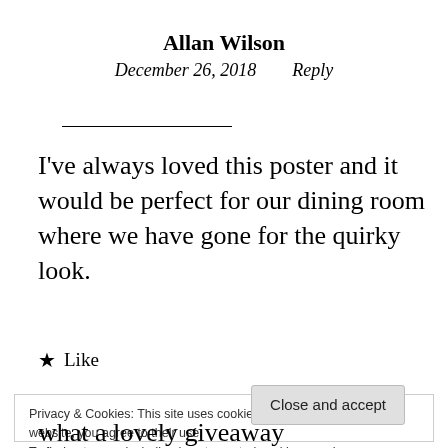Allan Wilson
December 26, 2018    Reply
I've always loved this poster and it would be perfect for our dining room where we have gone for the quirky look.
★ Like
Privacy & Cookies: This site uses cookies. By continuing to use this website, you agree to their use.
To find out more, including how to control cookies, see here:
Cookie Policy
Close and accept
what a lovely giveaway